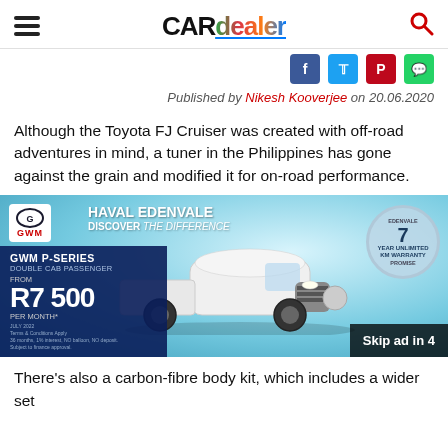CARdealer
Published by Nikesh Kooverjee on 20.06.2020
Although the Toyota FJ Cruiser was created with off-road adventures in mind, a tuner in the Philippines has gone against the grain and modified it for on-road performance.
[Figure (photo): GWM Haval Edenvale advertisement showing a white GWM P-Series Double Cab Passenger truck. Text reads: HAVAL EDENVALE DISCOVER THE DIFFERENCE. GWM P-SERIES DOUBLE CAB PASSENGER FROM R7 500 PER MONTH*. 7 YEAR UNLIMITED KM WARRANTY PROMISE. Skip ad in 4.]
There's also a carbon-fibre body kit, which includes a wider set